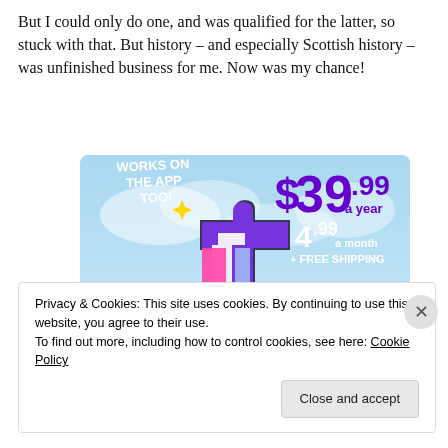But I could only do one, and was qualified for the latter, so stuck with that. But history – and especially Scottish history – was unfinished business for me. Now was my chance!
[Figure (illustration): Advertisement showing a stylized 't' logo (Tumblr-style) on a light blue cloudy background with yellow sparkle stars. Text reads: WORKS ON THE APP TOO! | $39.99 a year | or $4.99 a month | + FREE SHIPPING]
Privacy & Cookies: This site uses cookies. By continuing to use this website, you agree to their use.
To find out more, including how to control cookies, see here: Cookie Policy